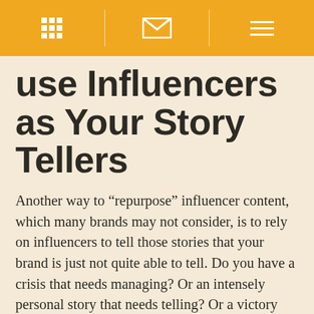[Navigation bar with grid icon, envelope icon, and menu icon on amber/orange background]
Use Influencers as Your Story Tellers
Another way to “repurpose” influencer content, which many brands may not consider, is to rely on influencers to tell those stories that your brand is just not quite able to tell. Do you have a crisis that needs managing? Or an intensely personal story that needs telling? Or a victory that needs to be celebrated? Bring on a team of your most trusted influencers to do